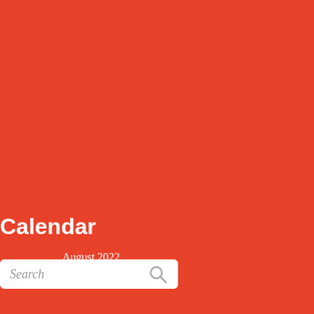[Figure (other): Search bar with text field and search icon button on red/orange background]
Calendar
| M | T | W | T | F | S | S |
| --- | --- | --- | --- | --- | --- | --- |
| 1 | 2 | 3 | 4 | 5 | 6 | 7 |